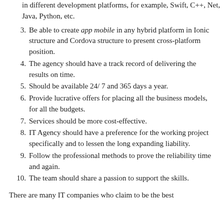in different development platforms, for example, Swift, C++, Net, Java, Python, etc.
3. Be able to create app mobile in any hybrid platform in Ionic structure and Cordova structure to present cross-platform position.
4. The agency should have a track record of delivering the results on time.
5. Should be available 24/ 7 and 365 days a year.
6. Provide lucrative offers for placing all the business models, for all the budgets.
7. Services should be more cost-effective.
8. IT Agency should have a preference for the working project specifically and to lessen the long expanding liability.
9. Follow the professional methods to prove the reliability time and again.
10. The team should share a passion to support the skills.
There are many IT companies who claim to be the best